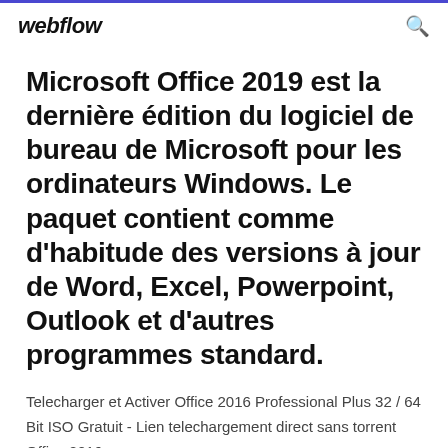webflow
Microsoft Office 2019 est la dernière édition du logiciel de bureau de Microsoft pour les ordinateurs Windows. Le paquet contient comme d’habitude des versions à jour de Word, Excel, Powerpoint, Outlook et d’autres programmes standard.
Telecharger et Activer Office 2016 Professional Plus 32 / 64 Bit ISO Gratuit - Lien telechargement direct sans torrent Office 2016